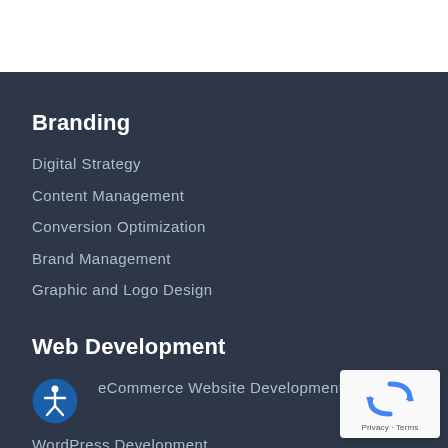Branding
Digital Strategy
Content Management
Conversion Optimization
Brand Management
Graphic and Logo Design
Web Development
eCommerce Website Development
WordPress Development
[Figure (logo): reCAPTCHA badge with recycling arrow icon and Privacy/Terms links]